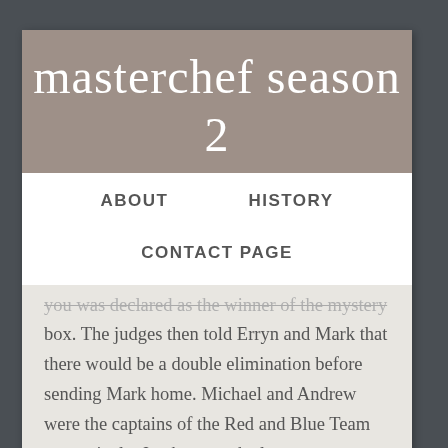masterchef season 2
ABOUT    HISTORY
CONTACT PAGE
box. The judges then told Erryn and Mark that there would be a double elimination before sending Mark home. Michael and Andrew were the captains of the Red and Blue Team respectively. Jon became the last person to advance while Lauren was eliminated and